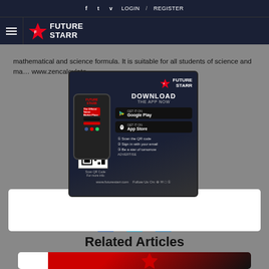f  t  v  LOGIN  /  REGISTER
[Figure (logo): Future Starr logo with hamburger menu]
mathematical and science formula. It is suitable for all students of science and ma... www.zencalculato...
[Figure (screenshot): Future Starr app advertisement popup with Download The App Now text, Google Play and App Store buttons, phone mockup, QR code, and steps to join]
[Figure (infographic): Social share buttons: Facebook (blue circle), Twitter (teal circle), LinkedIn (blue circle)]
Related Articles
[Figure (photo): Article thumbnail image with red and black gradient background with star shape]